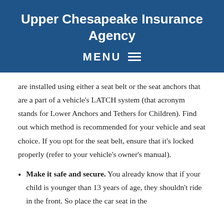Upper Chesapeake Insurance Agency
MENU ☰
are installed using either a seat belt or the seat anchors that are a part of a vehicle's LATCH system (that acronym stands for Lower Anchors and Tethers for Children). Find out which method is recommended for your vehicle and seat choice. If you opt for the seat belt, ensure that it's locked properly (refer to your vehicle's owner's manual).
Make it safe and secure. You already know that if your child is younger than 13 years of age, they shouldn't ride in the front. So place the car seat in the